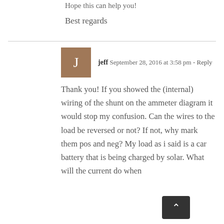Hope this can help you!
Best regards
jeff  September 28, 2016 at 3:58 pm - Reply
Thank you! If you showed the (internal) wiring of the shunt on the ammeter diagram it would stop my confusion. Can the wires to the load be reversed or not? If not, why mark them pos and neg? My load as i said is a car battery that is being charged by solar. What will the current do when